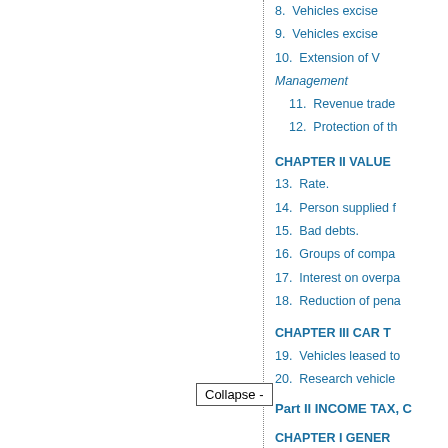8.  Vehicles excise
9.  Vehicles excise
10.  Extension of V
Management
11.  Revenue trade
12.  Protection of th
CHAPTER II VALUE
13.  Rate.
14.  Person supplied f
15.  Bad debts.
16.  Groups of compa
17.  Interest on overpa
18.  Reduction of pena
CHAPTER III CAR T
19.  Vehicles leased to
20.  Research vehicle
Part II INCOME TAX, C
CHAPTER I GENER
Income tax rates and
21.  Charge and ra
22.  Married couple